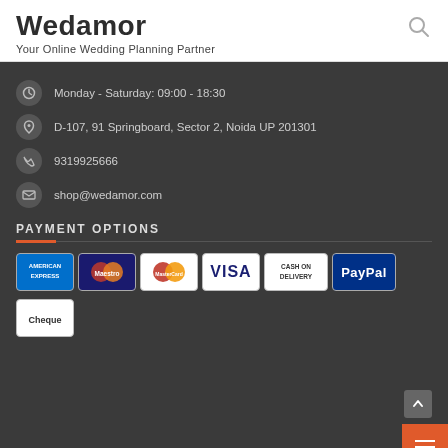Wedamor
Your Online Wedding Planning Partner
Monday - Saturday: 09:00 - 18:30
D-107, 91 Springboard, Sector 2, Noida UP 201301
9319925666
shop@wedamor.com
PAYMENT OPTIONS
[Figure (logo): Payment method logos: American Express, Maestro, MasterCard, Visa, Cash on Delivery, PayPal, Cheque]